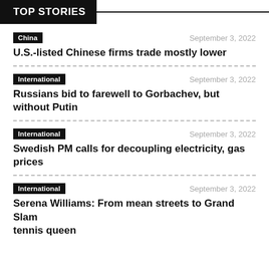TOP STORIES
China | September 3, 2022 | U.S.-listed Chinese firms trade mostly lower
International | September 3, 2022 | Russians bid to farewell to Gorbachev, but without Putin
International | September 3, 2022 | Swedish PM calls for decoupling electricity, gas prices
International | September 3, 2022 | Serena Williams: From mean streets to Grand Slam tennis queen